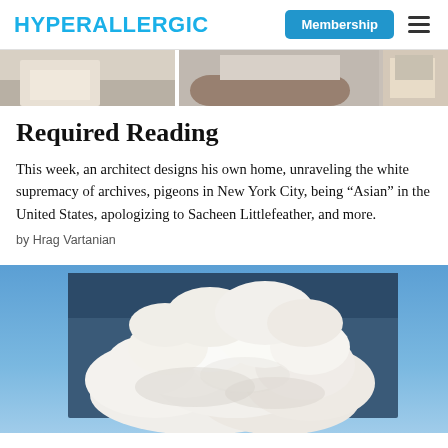HYPERALLERGIC
[Figure (photo): Partial photo of an interior space showing furniture and soft lighting, cropped at top]
Required Reading
This week, an architect designs his own home, unraveling the white supremacy of archives, pigeons in New York City, being “Asian” in the United States, apologizing to Sacheen Littlefeather, and more.
by Hrag Vartanian
[Figure (photo): A painting of large white clouds against a blue sky, held up against a bright blue sky background]